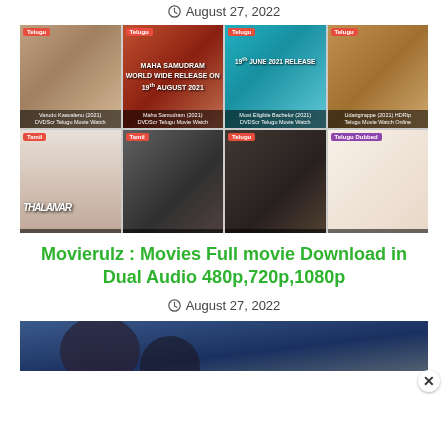August 27, 2022
[Figure (screenshot): Grid of 8 movie posters for Telugu/Tamil movies including Varudu Kaavalenu (2021), Maha Samudram (2021), Most Eligible Bachelor (2021), Udarigirappe (2021), Thalaivar, and others with DVDScr/Telugu movie watch labels]
Movierulz : Movies Full movie Download in Dual Audio 480p,720p,1080p
August 27, 2022
[Figure (photo): Partial view of a movie/scene image at the bottom of the page, partially cut off]